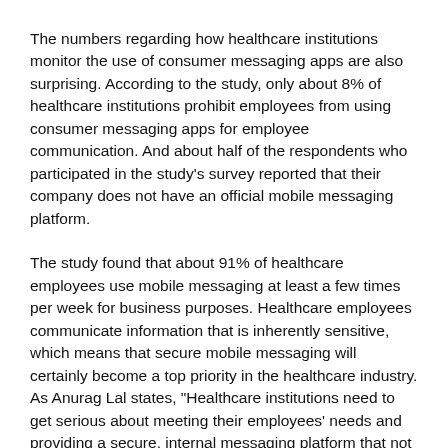The numbers regarding how healthcare institutions monitor the use of consumer messaging apps are also surprising. According to the study, only about 8% of healthcare institutions prohibit employees from using consumer messaging apps for employee communication. And about half of the respondents who participated in the study's survey reported that their company does not have an official mobile messaging platform.
The study found that about 91% of healthcare employees use mobile messaging at least a few times per week for business purposes. Healthcare employees communicate information that is inherently sensitive, which means that secure mobile messaging will certainly become a top priority in the healthcare industry. As Anurag Lal states, "Healthcare institutions need to get serious about meeting their employees' needs and providing a secure, internal messaging platform that not only allows HIPAA compliance, but also replaces outdated communication systems, like pagers, in order to increase productivity and serve patients faster."
The intersection between rapidly improving technology and